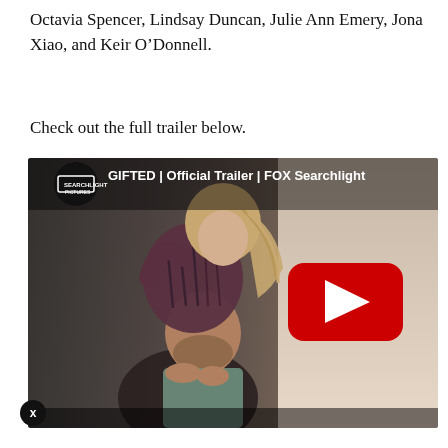Octavia Spencer, Lindsay Duncan, Julie Ann Emery, Jona Xiao, and Keir O’Donnell.
Check out the full trailer below.
[Figure (screenshot): YouTube video embed showing the GIFTED Official Trailer FOX Searchlight. Thumbnail shows a man carrying a young girl on his shoulders, with a YouTube play button overlay. Video title reads: GIFTED | Official Trailer | FOX Searchlight. FOX Searchlight logo (Searchlight Pictures) shown in top left.]